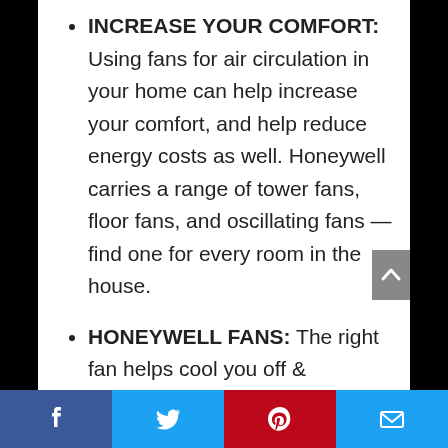INCREASE YOUR COMFORT: Using fans for air circulation in your home can help increase your comfort, and help reduce energy costs as well. Honeywell carries a range of tower fans, floor fans, and oscillating fans — find one for every room in the house.
HONEYWELL FANS: The right fan helps cool you off & improves airflow in your room or home. Give your air conditioner & wallet a break by using fans to help reduce your energy consumption & costs. Honeywell carries a variety of fans